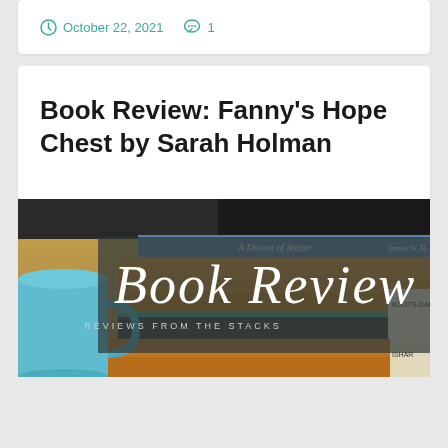October 22, 2021   1
Book Review: Fanny’s Hope Chest by Sarah Holman
[Figure (photo): Stack of books with a teal mug on the left and a semi-transparent dark overlay box containing the text 'Book Review' in cursive script and 'REVIEWS FROM THE STACKS' in small caps below it.]